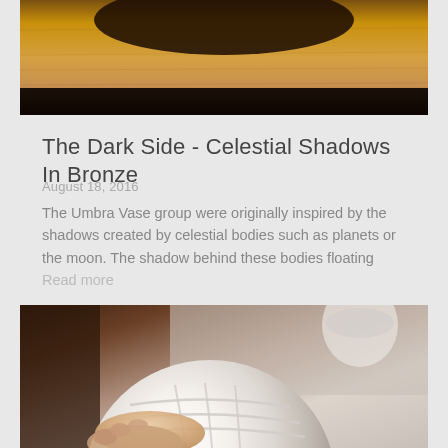[Figure (photo): Close-up photo of wooden surface with dark shadow at top]
The Dark Side - Celestial Shadows In Bronze
August 18, 2016
The Umbra Vase group were originally inspired by the shadows created by celestial bodies such as planets or the moon. The shadow behind these bodies floating Read more
[Figure (photo): Hands working on a white spherical ceramic or plaster object with rope/cord wrapped around it in a studio setting]